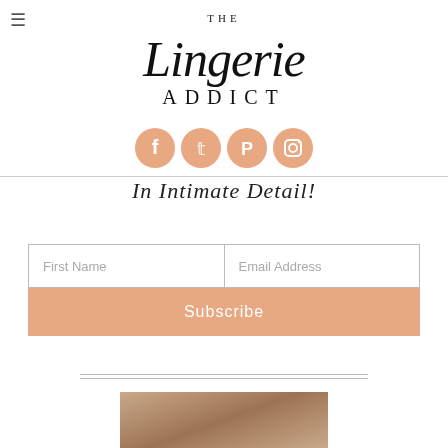[Figure (logo): The Lingerie Addict blog logo with script and serif typography]
[Figure (infographic): Four salmon/peach colored circular social media icons: Facebook, Twitter, Pinterest, Instagram]
In Intimate Detail!
[Figure (other): Email subscription form with First Name and Email Address input fields and a salmon Subscribe button]
[Figure (photo): Partial photo of a person, cropped at bottom of page]